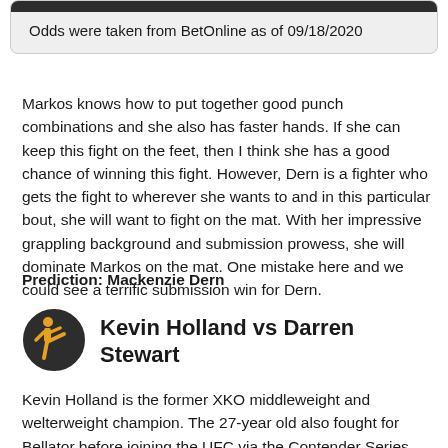Odds were taken from BetOnline as of 09/18/2020
Markos knows how to put together good punch combinations and she also has faster hands. If she can keep this fight on the feet, then I think she has a good chance of winning this fight. However, Dern is a fighter who gets the fight to wherever she wants to and in this particular bout, she will want to fight on the mat. With her impressive grappling background and submission prowess, she will dominate Markos on the mat. One mistake here and we could see a terrific submission win for Dern.
Prediction: Mackenzie Dern
Kevin Holland vs Darren Stewart
Kevin Holland is the former XKO middleweight and welterweight champion. The 27-year old also fought for Bellator before joining the UFC via the Contender Series. Holland is 5-2 inside the octagon and is coming off back to back knockout wins over Anthony Hernandez and Joaquin Buckley. He has a record of 18-5 with nine